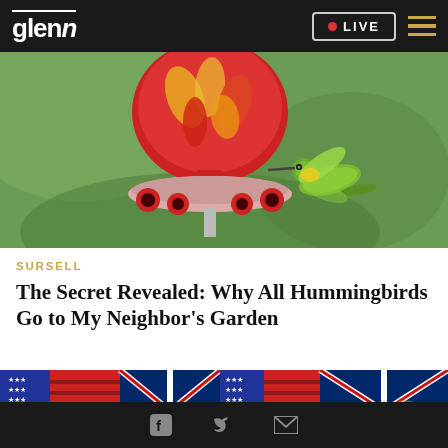glenn · LIVE
[Figure (photo): A hummingbird hovering near a red glass hummingbird feeder with yellow and red decorations, against a green blurred background]
SURSELL
The Secret Revealed: Why All Hummingbirds Go to My Neighbor's Garden
[Figure (photo): American and Australian flags displayed side by side at an event]
Facebook · Twitter · Email